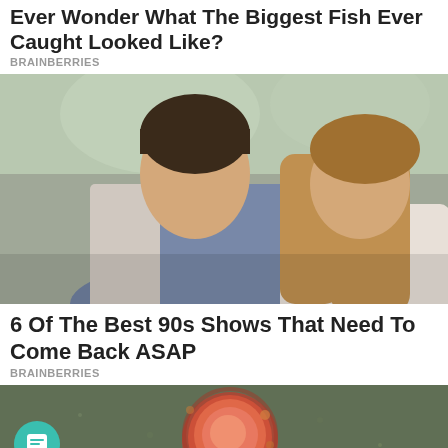Ever Wonder What The Biggest Fish Ever Caught Looked Like?
BRAINBERRIES
[Figure (photo): Two people (a man and a woman) in a bedroom scene, looking surprised and concerned, woman leaning in from behind the man]
6 Of The Best 90s Shows That Need To Come Back ASAP
BRAINBERRIES
[Figure (photo): Close-up microscope image of a pink/red spherical virus or cell particle on a dark textured background, with a teal chat button overlay in bottom-left]